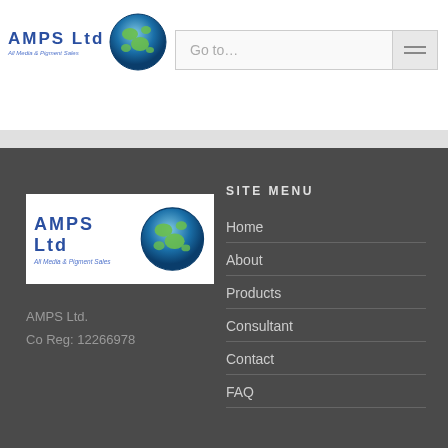AMPS Ltd — header navigation bar with logo and Go to... dropdown
[Figure (logo): AMPS Ltd logo with globe graphic and text 'All Media & Pigment Sales' in header]
Go to...
[Figure (logo): AMPS Ltd logo with globe graphic in footer section]
AMPS Ltd.
Co Reg: 12266978
SITE MENU
Home
About
Products
Consultant
Contact
FAQ